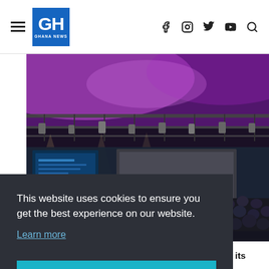GH GHANA NEWS — navigation header with hamburger, logo, and social icons (f, instagram, twitter, youtube, search)
[Figure (photo): Conference event photo showing a large auditorium filled with attendees, a stage with purple/magenta stage lighting and trusses, and a speaker at a podium on stage with a large screen behind them.]
This website uses cookies to ensure you get the best experience on our website.
Learn more
Got it!
professionally and efficiently in the larger interest of its